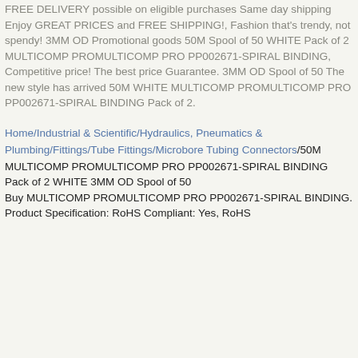FREE DELIVERY possible on eligible purchases Same day shipping Enjoy GREAT PRICES and FREE SHIPPING!, Fashion that's trendy, not spendy! 3MM OD Promotional goods 50M Spool of 50 WHITE Pack of 2 MULTICOMP PROMULTICOMP PRO PP002671-SPIRAL BINDING, Competitive price! The best price Guarantee. 3MM OD Spool of 50 The new style has arrived 50M WHITE MULTICOMP PROMULTICOMP PRO PP002671-SPIRAL BINDING Pack of 2.
Home/Industrial & Scientific/Hydraulics, Pneumatics & Plumbing/Fittings/Tube Fittings/Microbore Tubing Connectors/50M MULTICOMP PROMULTICOMP PRO PP002671-SPIRAL BINDING Pack of 2 WHITE 3MM OD Spool of 50
Buy MULTICOMP PROMULTICOMP PRO PP002671-SPIRAL BINDING. Product Specification: RoHS Compliant: Yes, RoHS